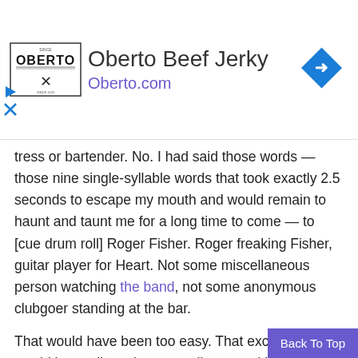[Figure (logo): Oberto Beef Jerky advertisement banner with logo, brand name, website URL, and a blue diamond arrow icon]
tress or bartender. No. I had said those words — those nine single-syllable words that took exactly 2.5 seconds to escape my mouth and would remain to haunt and taunt me for a long time to come — to [cue drum roll] Roger Fisher. Roger freaking Fisher, guitar player for Heart. Not some miscellaneous person watching the band, not some anonymous clubgoer standing at the bar.
That would have been too easy. That exchange would have allowed me to walk away with my reputation intact — whatever my reputation was at that time as a rock writer who had been knocking around for about two years — but no, life isn't that kind. And full of irony: here is the day